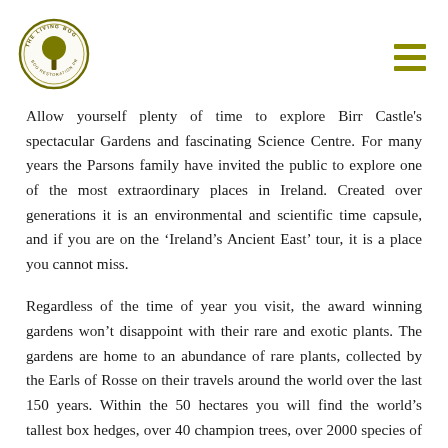The Living Bog logo and hamburger menu
Allow yourself plenty of time to explore Birr Castle's spectacular Gardens and fascinating Science Centre. For many years the Parsons family have invited the public to explore one of the most extraordinary places in Ireland. Created over generations it is an environmental and scientific time capsule, and if you are on the ‘Ireland’s Ancient East’ tour, it is a place you cannot miss.
Regardless of the time of year you visit, the award winning gardens won’t disappoint with their rare and exotic plants. The gardens are home to an abundance of rare plants, collected by the Earls of Rosse on their travels around the world over the last 150 years. Within the 50 hectares you will find the world’s tallest box hedges, over 40 champion trees, over 2000 species of plant as well as rivers, lake and